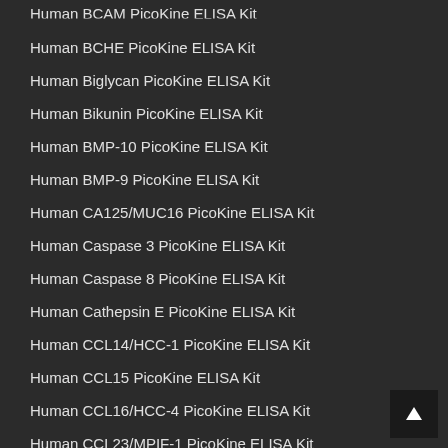Human BCAM PicoKine ELISA Kit
Human BCHE PicoKine ELISA Kit
Human Biglycan PicoKine ELISA Kit
Human Bikunin PicoKine ELISA Kit
Human BMP-10 PicoKine ELISA Kit
Human BMP-9 PicoKine ELISA Kit
Human CA125/MUC16 PicoKine ELISA Kit
Human Caspase 3 PicoKine ELISA Kit
Human Caspase 8 PicoKine ELISA Kit
Human Cathepsin E PicoKine ELISA Kit
Human CCL14/HCC-1 PicoKine ELISA Kit
Human CCL15 PicoKine ELISA Kit
Human CCL16/HCC-4 PicoKine ELISA Kit
Human CCL23/MPIF-1 PicoKine ELISA Kit
Human CCL25/TECK PicoKine ELISA Kit
Human CD13/Aminopeptidase N PicoKine ELISA Kit
Human CD164 PicoKine ELISA Kit
Human CD169/SIGLEC-1 PicoKine ELISA Kit
Human CD300 PicoKine ELISA Kit